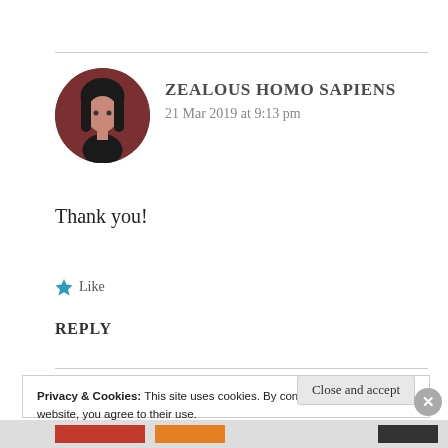[Figure (photo): Circular avatar image showing a person with dark hair against a dark reddish-brown background]
ZEALOUS HOMO SAPIENS
21 Mar 2019 at 9:13 pm
Thank you!
★ Like
REPLY
Privacy & Cookies: This site uses cookies. By continuing to use this website, you agree to their use.
To find out more, including how to control cookies, see here: Cookie Policy
Close and accept